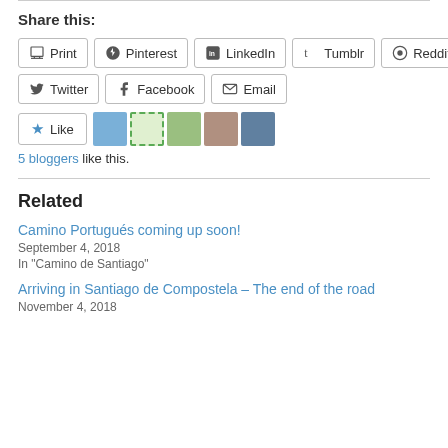Share this:
Print | Pinterest | LinkedIn | Tumblr | Reddit | Twitter | Facebook | Email
Like | 5 bloggers like this.
Related
Camino Portugués coming up soon!
September 4, 2018
In "Camino de Santiago"
Arriving in Santiago de Compostela – The end of the road
November 4, 2018